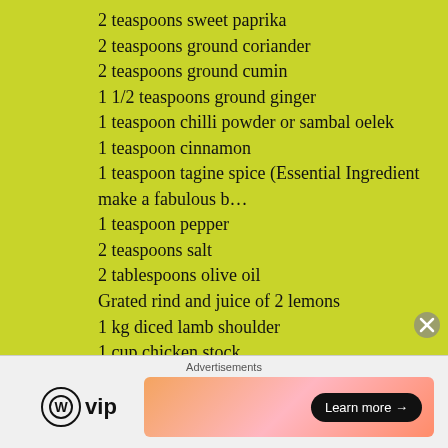2 teaspoons sweet paprika
2 teaspoons ground coriander
2 teaspoons ground cumin
1 1/2 teaspoons ground ginger
1 teaspoon chilli powder or sambal oelek
1 teaspoon cinnamon
1 teaspoon tagine spice (Essential Ingredient make a fabulous b…
1 teaspoon pepper
2 teaspoons salt
2 tablespoons olive oil
Grated rind and juice of 2 lemons
1 kg diced lamb shoulder
1 cup chicken stock
3/4 cup dried apricots
1/2 cup raisins
Pomegranate seeds
1/2 cup pistachio kernels, roughly chopped
Advertisements
[Figure (logo): WordPress VIP logo with circle W icon and 'vip' text]